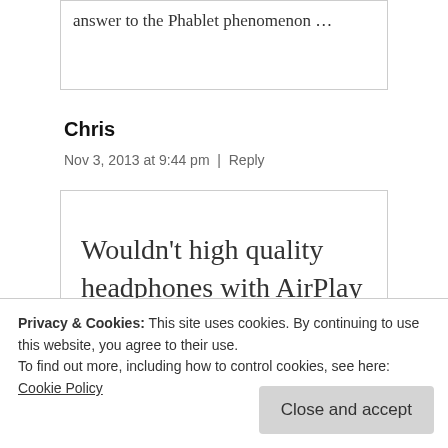answer to the Phablet phenomenon ...
Chris
Nov 3, 2013 at 9:44 pm  |  Reply
Wouldn't high quality headphones with AirPlay support be a better
Privacy & Cookies: This site uses cookies. By continuing to use this website, you agree to their use.
To find out more, including how to control cookies, see here: Cookie Policy
Close and accept
laptop. The problem is being tethered to a big sound system.